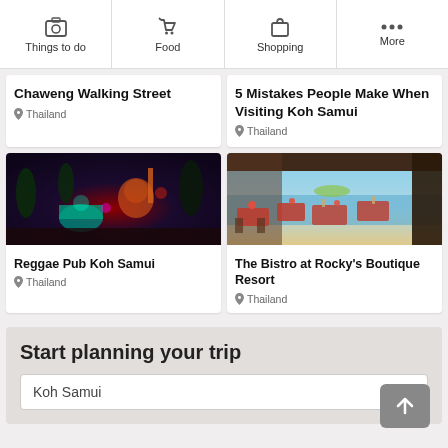Things to do | Food | Shopping | More
Chaweng Walking Street
Thailand
5 Mistakes People Make When Visiting Koh Samui
Thailand
[Figure (photo): Nighttime photo of colorful neon-lit structures at Reggae Pub Koh Samui]
Reggae Pub Koh Samui
Thailand
[Figure (photo): Beachfront restaurant dining area with red tablecloths and ocean view at The Bistro at Rocky's Boutique Resort]
The Bistro at Rocky's Boutique Resort
Thailand
Start planning your trip
Koh Samui